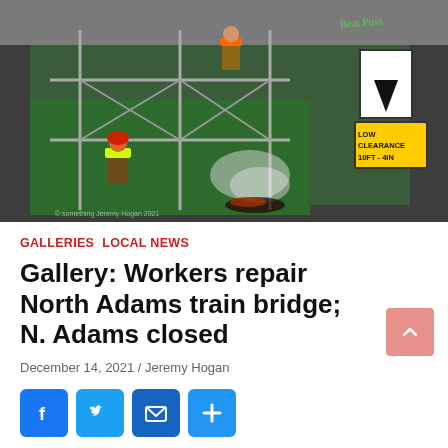[Figure (photo): Construction workers on scaffolding repairing a train bridge in North Adams. One worker in orange vest stands on upper scaffold cutting, another in yellow/green vest stands below. Smoke and sparks visible. A LOW CLEARANCE 10ft-4in sign and an arrow sign are visible on the right side.]
GALLERIES  LOCAL NEWS
Gallery: Workers repair North Adams train bridge; N. Adams closed
December 14, 2021 / Jeremy Hogan